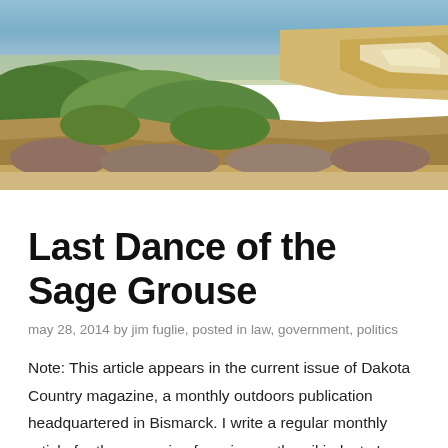[Figure (photo): Aerial/landscape photo of a badlands canyon with rocky cliffs, green scrub vegetation, and a wide valley stretching into the distance under a blue sky.]
Last Dance of the Sage Grouse
may 28, 2014 by jim fuglie, posted in law, government, politics
Note: This article appears in the current issue of Dakota Country magazine, a monthly outdoors publication headquartered in Bismarck. I write a regular monthly article for the magazine focusing on the oil industry's impact on the North Dakota Badlands. You can find subscription information on the magazine's website.